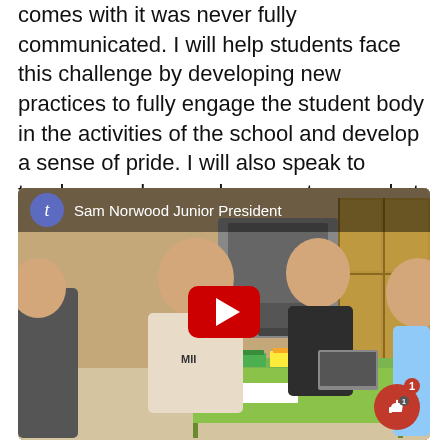comes with it was never fully communicated. I will help students face this challenge by developing new practices to fully engage the student body in the activities of the school and develop a sense of pride. I will also speak to teachers and upperclassmen to see what traditions they remember from their years prior to Covid -19 and promote and reinstate them.
[Figure (screenshot): YouTube video thumbnail showing Sam Norwood Junior President. Four students are seated around a table with books and folders. A YouTube play button is overlaid in the center. A like button badge with count 1 is visible in the bottom right.]